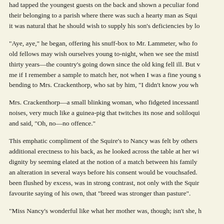had tapped the youngest guests on the back and shown a peculiar fond their belonging to a parish where there was such a hearty man as Squi it was natural that he should wish to supply his son's deficiencies by lo
"Aye, aye," he began, offering his snuff-box to Mr. Lammeter, who fo old fellows may wish ourselves young to-night, when we see the mistl thirty years—the country's going down since the old king fell ill. But v me if I remember a sample to match her, not when I was a fine young s bending to Mrs. Crackenthorp, who sat by him, "I didn't know you wh
Mrs. Crackenthorp—a small blinking woman, who fidgeted incessantl noises, very much like a guinea-pig that twitches its nose and soliloqui and said, "Oh, no—no offence."
This emphatic compliment of the Squire's to Nancy was felt by others additional erectness to his back, as he looked across the table at her wi dignity by seeming elated at the notion of a match between his family an alteration in several ways before his consent would be vouchsafed. been flushed by excess, was in strong contrast, not only with the Squir favourite saying of his own, that "breed was stronger than pasture".
"Miss Nancy's wonderful like what her mother was, though; isn't she, h
But Doctor Kimble (country apothecaries in old days enjoyed that title with his hands in his pockets, making himself agreeable to his feminin hereditory right—not one of those miserable apothecaries who acquit